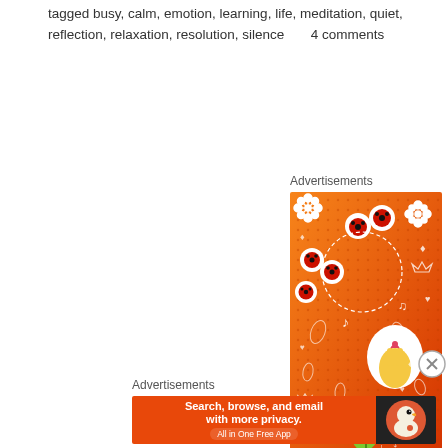tagged busy, calm, emotion, learning, life, meditation, quiet, reflection, relaxation, resolution, silence     4 comments
Advertisements
[Figure (illustration): Orange gradient advertisement banner with illustrated stickers: ladybugs in white circles, a yellow Korean finger heart hand sticker, green leaf characters, a skull, flowers, music notes, crowns, arrows, and other doodle elements on a dotted orange-to-red gradient background.]
Advertisements
[Figure (screenshot): DuckDuckGo advertisement banner: 'Search, browse, and email with more privacy. All in One Free App' with DuckDuckGo logo on dark background.]